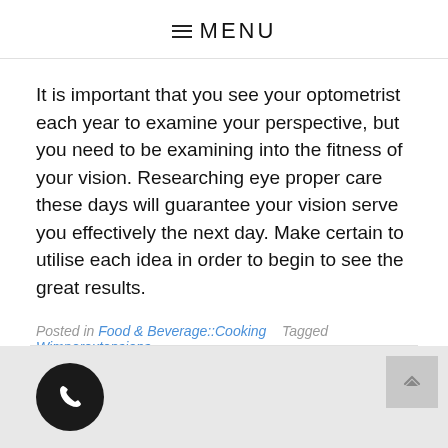☰ MENU
It is important that you see your optometrist each year to examine your perspective, but you need to be examining into the fitness of your vision. Researching eye proper care these days will guarantee your vision serve you effectively the next day. Make certain to utilise each idea in order to begin to see the great results.
Posted in Food & Beverage::Cooking   Tagged Wimperextensions